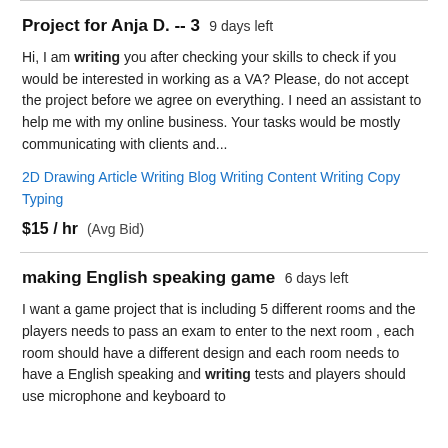Project for Anja D. -- 3  9 days left
Hi, I am writing you after checking your skills to check if you would be interested in working as a VA? Please, do not accept the project before we agree on everything. I need an assistant to help me with my online business. Your tasks would be mostly communicating with clients and...
2D Drawing   Article Writing   Blog Writing   Content Writing   Copy Typing
$15 / hr  (Avg Bid)
making English speaking game  6 days left
I want a game project that is including 5 different rooms and the players needs to pass an exam to enter to the next room , each room should have a different design and each room needs to have a English speaking and writing tests and players should use microphone and keyboard to